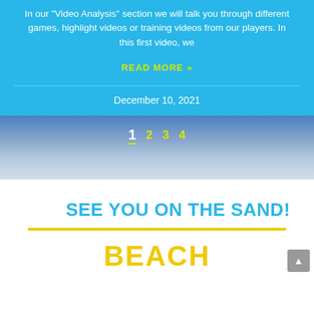In our "Video Analysis" section we will talk you through different games, highlight videos or training videos from our players. In this first video, we
READ MORE »
December 10, 2021
1  2  3  4
SEE YOU ON THE SAND!
BEACH